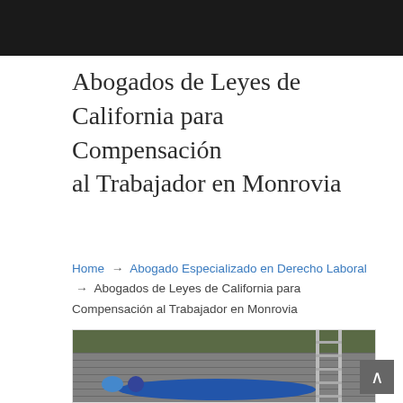[Figure (photo): Dark header image background at top of webpage]
Abogados de Leyes de California para Compensación al Trabajador en Monrovia
Home → Abogado Especializado en Derecho Laboral → Abogados de Leyes de California para Compensación al Trabajador en Monrovia
[Figure (photo): A worker in a blue jumpsuit lying on brick pavement next to a ladder and a hard hat, appearing to have fallen from a ladder]